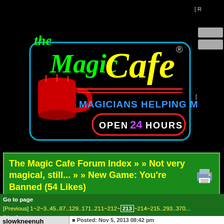[Figure (logo): The Magic Cafe neon sign logo with text 'the Magic Cafe', 'MAGICIANS HELPING MAGICIANS', 'OPEN 24 HOURS', red coffee mug, registered trademark symbol]
The Magic Cafe Forum Index » » Not very magical, still... » » New Game: You're Banned (54 Likes)
Go to page [Previous] 1~2~3..45..87..129..171..211~212~213~214~215..293..370... [Next]
slowkneenuh
Posted: Nov 5, 2013 08:42 pm
Your banned for thinking I'm not thinking when I ha thinking to ban you in the first place.